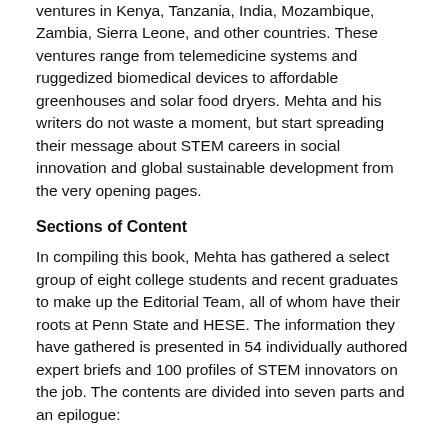ventures in Kenya, Tanzania, India, Mozambique, Zambia, Sierra Leone, and other countries. These ventures range from telemedicine systems and ruggedized biomedical devices to affordable greenhouses and solar food dryers. Mehta and his writers do not waste a moment, but start spreading their message about STEM careers in social innovation and global sustainable development from the very opening pages.
Sections of Content
In compiling this book, Mehta has gathered a select group of eight college students and recent graduates to make up the Editorial Team, all of whom have their roots at Penn State and HESE. The information they have gathered is presented in 54 individually authored expert briefs and 100 profiles of STEM innovators on the job. The contents are divided into seven parts and an epilogue:
Part 1 STEM for Social Innovation: The Time Is NOW!
(Current trends and the role of STEM in societal improvements)
Part 2 Organizations in the Social Innovation and Sustainable Innovation Arena
(A review of the types of organizations, what they do, and how